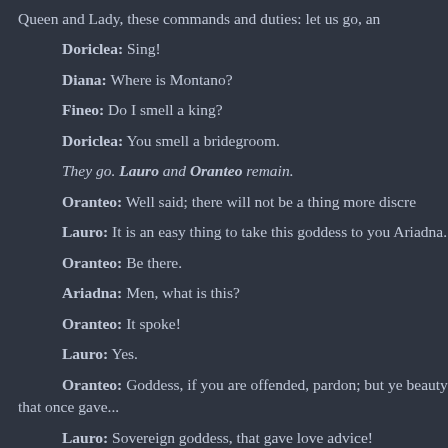Queen and Lady, these commands and duties: let us go, an
Doriclea: Sing!
Diana: Where is Montano?
Fineo: Do I smell a king?
Doriclea: You smell a bridegroom.
They go. Lauro and Oranteo remain.
Oranteo: Well said; there will not be a thing more discre
Lauro: It is an easy thing to take this goddess to you Ariadna.
Oranteo: Be there.
Ariadna: Men, what is this?
Oranteo: It spoke!
Lauro: Yes.
Oranteo: Goddess, if you are offended, pardon; but ye beauty that once gave...
Lauro: Sovereign goddess, that gave love advice!